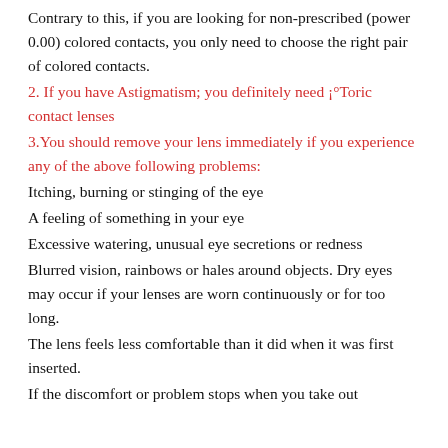Contrary to this, if you are looking for non-prescribed (power 0.00) colored contacts, you only need to choose the right pair of colored contacts.
2. If you have Astigmatism; you definitely need ¡°Toric contact lenses
3.You should remove your lens immediately if you experience any of the above following problems:
Itching, burning or stinging of the eye
A feeling of something in your eye
Excessive watering, unusual eye secretions or redness
Blurred vision, rainbows or hales around objects. Dry eyes may occur if your lenses are worn continuously or for too long.
The lens feels less comfortable than it did when it was first inserted.
If the discomfort or problem stops when you take out